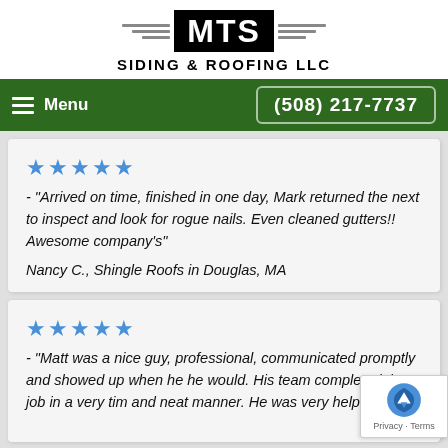[Figure (logo): MTS Siding & Roofing LLC logo with wing decorations and black badge]
Menu   (508) 217-7737
★★★★★ - "Arrived on time, finished in one day, Mark returned the next to inspect and look for rogue nails. Even cleaned gutters!! Awesome company's"
Nancy C., Shingle Roofs in Douglas, MA
★★★★★ - "Matt was a nice guy, professional, communicated promptly and showed up when he he would. His team completed the job in a very tim and neat manner. He was very helpful when